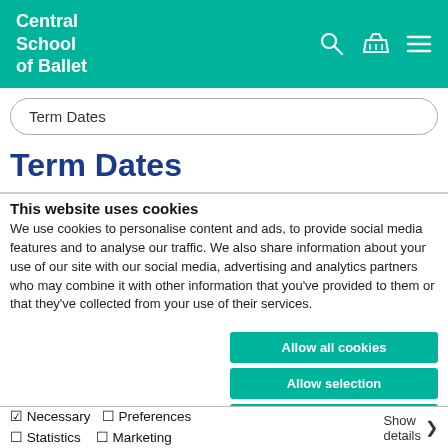Central School of Ballet
Term Dates
Term Dates
This website uses cookies
We use cookies to personalise content and ads, to provide social media features and to analyse our traffic. We also share information about your use of our site with our social media, advertising and analytics partners who may combine it with other information that you've provided to them or that they've collected from your use of their services.
Allow all cookies
Allow selection
Use necessary cookies only
☑ Necessary  ☐ Preferences  ☐ Statistics  ☐ Marketing  Show details